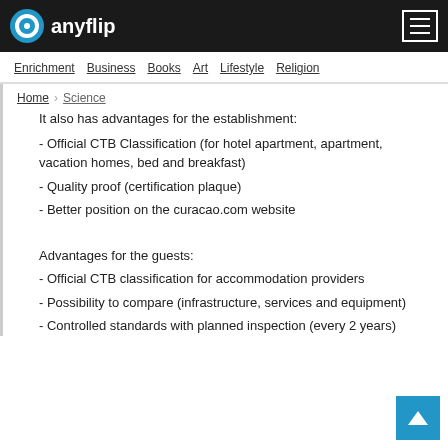anyflip — Enrichment | Business | Books | Art | Lifestyle | Religion
Home › Science
It also has advantages for the establishment:
- Official CTB Classification (for hotel apartment, apartment, vacation homes, bed and breakfast)
- Quality proof (certification plaque)
- Better position on the curacao.com website
Advantages for the guests:
- Official CTB classification for accommodation providers
- Possibility to compare (infrastructure, services and equipment)
- Controlled standards with planned inspection (every 2 years)